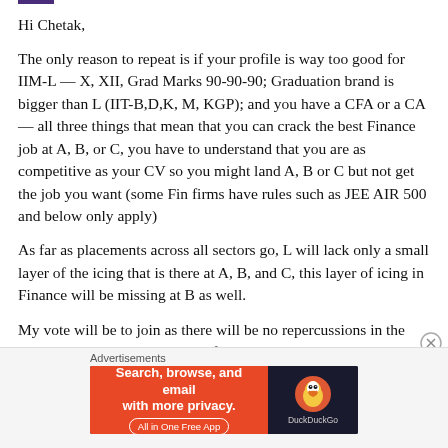Hi Chetak,
The only reason to repeat is if your profile is way too good for IIM-L — X, XII, Grad Marks 90-90-90; Graduation brand is bigger than L (IIT-B,D,K, M, KGP); and you have a CFA or a CA — all three things that mean that you can crack the best Finance job at A, B, or C, you have to understand that you are as competitive as your CV so you might land A, B or C but not get the job you want (some Fin firms have rules such as JEE AIR 500 and below only apply)
As far as placements across all sectors go, L will lack only a small layer of the icing that is there at A, B, and C, this layer of icing in Finance will be missing at B as well.
My vote will be to join as there will be no repercussions in the long run. My batch topper was from IIT-Kanpur, he topped at
[Figure (other): DuckDuckGo advertisement banner with orange left section reading 'Search, browse, and email with more privacy. All in One Free App' and dark right section with DuckDuckGo logo]